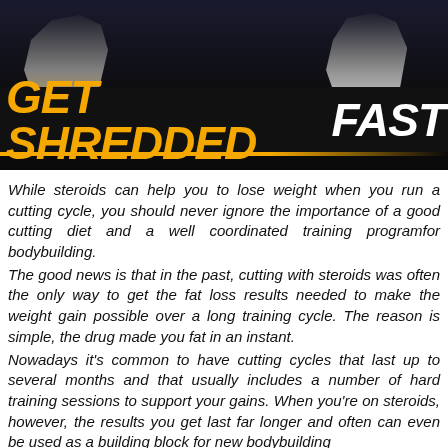[Figure (photo): Fitness/bodybuilding promotional banner image with dark background showing muscular athletes and bold title text 'GET SHREDDED FAST' in yellow and white italic font]
While steroids can help you to lose weight when you run a cutting cycle, you should never ignore the importance of a good cutting diet and a well coordinated training programfor bodybuilding.
The good news is that in the past, cutting with steroids was often the only way to get the fat loss results needed to make the weight gain possible over a long training cycle. The reason is simple, the drug made you fat in an instant.
Nowadays it's common to have cutting cycles that last up to several months and that usually includes a number of hard training sessions to support your gains. When you're on steroids, however, the results you get last far longer and often can even be used as a building block for new bodybuilding